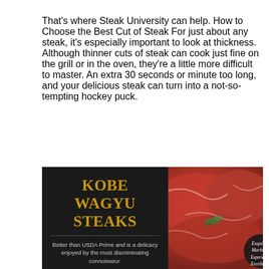That's where Steak University can help. How to Choose the Best Cut of Steak For just about any steak, it's especially important to look at thickness. Although thinner cuts of steak can cook just fine on the grill or in the oven, they're a little more difficult to master. An extra 30 seconds or minute too long, and your delicious steak can turn into a not-so-tempting hockey puck.
[Figure (infographic): Advertisement for Kobe Wagyu Steaks with dark background, gold title text, description text on left, and photo of raw marbled steaks with a badge saying 'Exquisite Marbling Experience Excellence' on the right.]